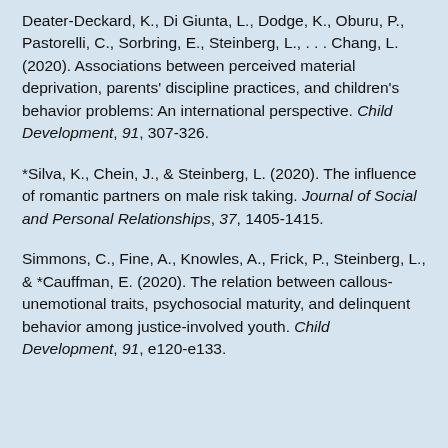Deater-Deckard, K., Di Giunta, L., Dodge, K., Oburu, P., Pastorelli, C., Sorbring, E., Steinberg, L., . . . Chang, L. (2020). Associations between perceived material deprivation, parents' discipline practices, and children's behavior problems: An international perspective. Child Development, 91, 307-326.
*Silva, K., Chein, J., & Steinberg, L. (2020). The influence of romantic partners on male risk taking. Journal of Social and Personal Relationships, 37, 1405-1415.
Simmons, C., Fine, A., Knowles, A., Frick, P., Steinberg, L., & *Cauffman, E. (2020). The relation between callous-unemotional traits, psychosocial maturity, and delinquent behavior among justice-involved youth. Child Development, 91, e120-e133.